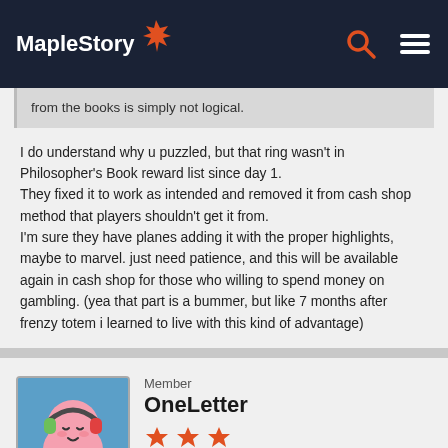MapleStory
from the books is simply not logical.
I do understand why u puzzled, but that ring wasn't in Philosopher's Book reward list since day 1.
They fixed it to work as intended and removed it from cash shop method that players shouldn't get it from.
I'm sure they have planes adding it with the proper highlights, maybe to marvel. just need patience, and this will be available again in cash shop for those who willing to spend money on gambling. (yea that part is a bummer, but like 7 months after frenzy totem i learned to live with this kind of advantage)
Member
OneLetter
Reactions: 6,380
Posts: 179